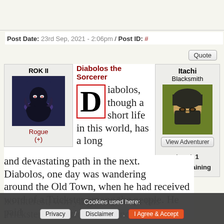Post Date: 23rd Sep, 2021 - 2:06pm / Post ID: #
[Figure (illustration): ROK II character avatar: dark robed rogue figure with purple/blue aura on dark background]
Diabolos the Sorcerer
Diabolos, though a short life in this world, has a long and devastating path in the next. Diabolos, one day was wandering around the Old Town, when he had received word of a Trickster among the people. He paid no interest, worrying not of what this Trickster's intentions were, nor the
[Figure (photo): Itachi Blacksmith profile photo: person wearing dark turban and face covering]
Itachi
Blacksmith
Level: 1
Action: Training